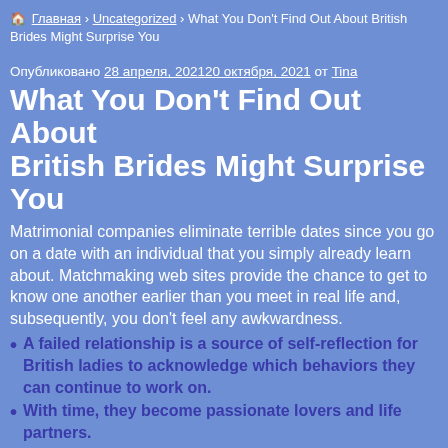🏠 Главная › Uncategorized › What You Don't Find Out About British Brides Might Surprise You
Опубликовано 28 апреля, 202120 октября, 2021 от Tina
What You Don't Find Out About British Brides Might Surprise You
Matrimonial companies eliminate terrible dates since you go on a date with an individual that you simply already learn about. Matchmaking web sites provide the chance to get to know one another earlier than you meet in real life and, subsequently, you don't feel any awkwardness.
A failed relationship is a source of self-reflection for British ladies to acknowledge which behaviors they can continue to work on.
With time, they become passionate lovers and life partners.
It has made tremendous progress, politically and economically, over time and is an influence to reckon